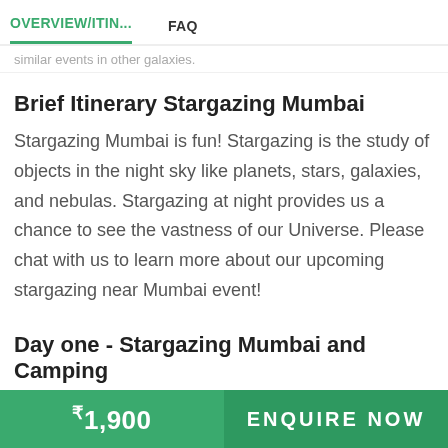OVERVIEW/ITIN...   FAQ
similar events in other galaxies.
Brief Itinerary Stargazing Mumbai
Stargazing Mumbai is fun! Stargazing is the study of objects in the night sky like planets, stars, galaxies, and nebulas. Stargazing at night provides us a chance to see the vastness of our Universe. Please chat with us to learn more about our upcoming stargazing near Mumbai event!
Day one - Stargazing Mumbai and Camping
₹1,900   ENQUIRE NOW